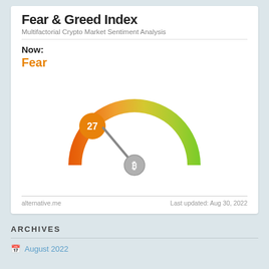Fear & Greed Index
Multifactorial Crypto Market Sentiment Analysis
Now: Fear
[Figure (infographic): Gauge/speedometer chart showing Fear & Greed Index at 27 (Fear). The gauge arc goes from red/orange on the left (extreme fear) through yellow in the middle to green on the right (extreme greed). A needle points to approximately 27, indicating Fear. An orange circle with '27' is shown at upper left. A Bitcoin symbol circle is at the needle pivot.]
alternative.me
Last updated: Aug 30, 2022
ARCHIVES
August 2022